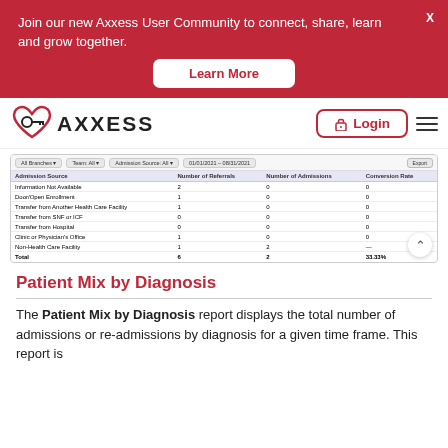Join our new Axxess User Community to connect, share, learn and grow together.
Learn More
[Figure (logo): Axxess logo with heart and key icon, and Login button and hamburger menu in nav bar]
[Figure (screenshot): Screenshot of a table showing Admission Source data with columns: Admission Source, Number of Referrals, Number of Admissions, Conversion Rate. Rows include: Information Not Available, Door/Open Enrollment, Transfer from Another Health Care Facility, Transfer from SNF or ICF, Transfer from Hospital, Clinic or Physician's Office, Non-Health Care Facility. Total row shows 6 referrals, 2 admissions, 33.33%.]
Patient Mix by Diagnosis
The Patient Mix by Diagnosis report displays the total number of admissions or re-admissions by diagnosis for a given time frame. This report is